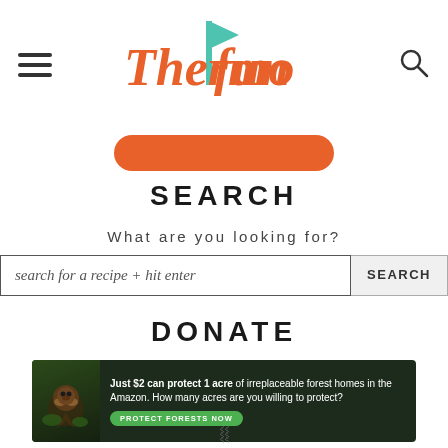[Figure (logo): ThermoFun logo with orange and teal lettering, teal flag accent on capital F]
[Figure (other): Partially visible orange rounded-rectangle button]
SEARCH
What are you looking for?
search for a recipe + hit enter
DONATE
[Figure (other): Amazon forest conservation ad banner: Just $2 can protect 1 acre of irreplaceable forest homes in the Amazon. How many acres are you willing to protect? PROTECT FORESTS NOW]